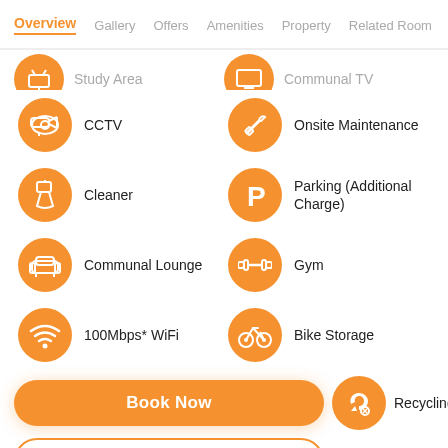Overview  Gallery  Offers  Amenities  Property  Related Room
Study Area
Communal TV
CCTV
Onsite Maintenance
Cleaner
Parking (Additional Charge)
Communal Lounge
Gym
100Mbps* WiFi
Bike Storage
Recycling
Book Now
Book A Viewing